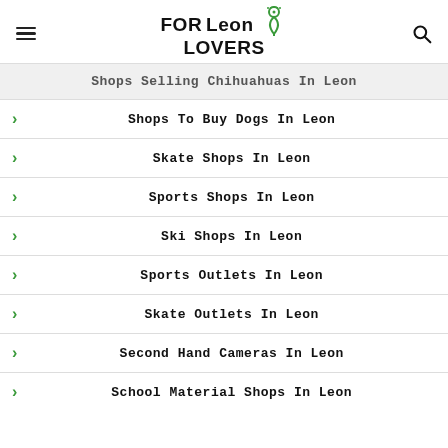FORLeon LOVERS
Shops Selling Chihuahuas In Leon
Shops To Buy Dogs In Leon
Skate Shops In Leon
Sports Shops In Leon
Ski Shops In Leon
Sports Outlets In Leon
Skate Outlets In Leon
Second Hand Cameras In Leon
School Material Shops In Leon